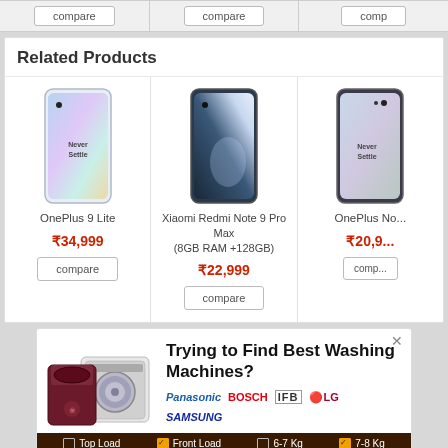Related Products
[Figure (screenshot): OnePlus 9 Lite smartphone product card with phone image, price ₹34,999, and compare button]
[Figure (screenshot): Xiaomi Redmi Note 9 Pro Max (8GB RAM +128GB) product card with phone image, price ₹22,999, and compare button]
[Figure (screenshot): OnePlus Nord (partially visible) product card with price ₹20,999 (partially visible) and compare button]
[Figure (screenshot): Advertisement banner for washing machines featuring Panasonic, BOSCH, IFB, LG, Samsung brands with filter options: Top Load, Front Load, 6-7 Kg, 7-8 Kg]